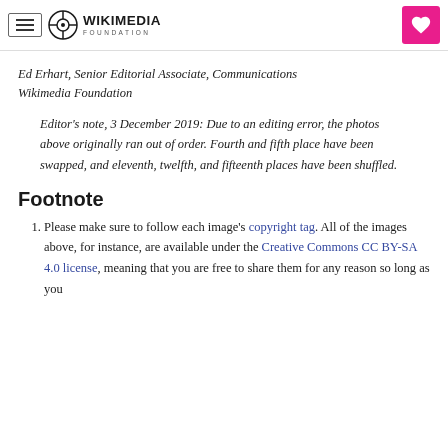Wikimedia Foundation
Ed Erhart, Senior Editorial Associate, Communications
Wikimedia Foundation
Editor's note, 3 December 2019: Due to an editing error, the photos above originally ran out of order. Fourth and fifth place have been swapped, and eleventh, twelfth, and fifteenth places have been shuffled.
Footnote
Please make sure to follow each image's copyright tag. All of the images above, for instance, are available under the Creative Commons CC BY-SA 4.0 license, meaning that you are free to share them for any reason so long as you...